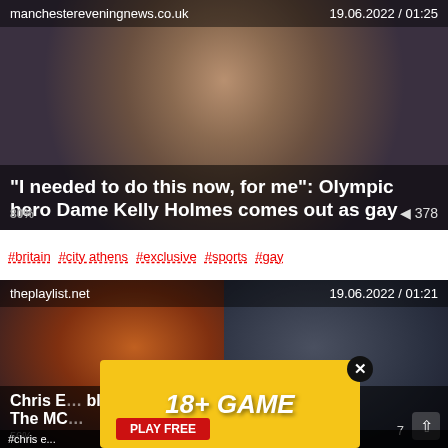manchestereveningnews.co.uk    19.06.2022 / 01:25
[Figure (photo): Close-up photo of a woman's face (Dame Kelly Holmes)]
"I needed to do this now, for me": Olympic hero Dame Kelly Holmes comes out as gay
80%   ⊙ 378
#britain  #city athens  #exclusive  #sports  #gay
theplaylist.net    19.06.2022 / 01:21
[Figure (photo): Movie promotional image with two characters; overlaid with an 18+ game advertisement]
Chris E... ble In The MC...
56%    7
#chris e...